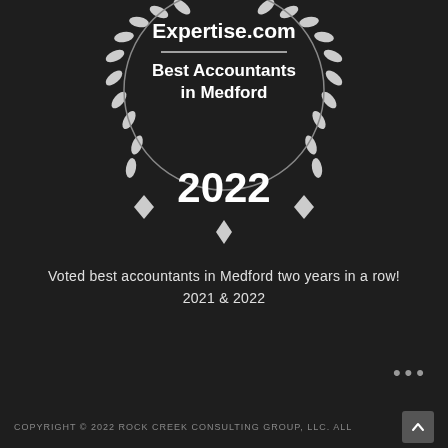[Figure (logo): Expertise.com award badge — laurel wreath with text 'Expertise.com Best Accountants in Medford 2022' on dark background]
Voted best accountants in Medford two years in a row!
2021 & 2022
COPYRIGHT © 2022 ROCK CREEK CONSULTING GROUP, LLC. ALL